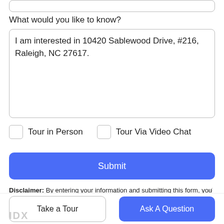What would you like to know?
I am interested in 10420 Sablewood Drive, #216, Raleigh, NC 27617.
Tour in Person
Tour Via Video Chat
Submit
Disclaimer: By entering your information and submitting this form, you agree to our Terms of Use and Privacy Policy and that you may be contacted by phone, text message and email about your inquiry.
Take a Tour
Ask A Question